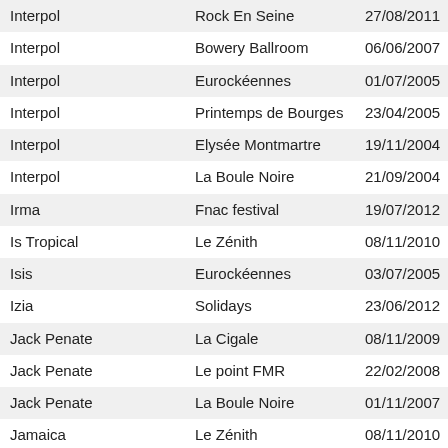| Artist | Venue | Date |
| --- | --- | --- |
| Interpol | Rock En Seine | 27/08/2011 |
| Interpol | Bowery Ballroom | 06/06/2007 |
| Interpol | Eurockéennes | 01/07/2005 |
| Interpol | Printemps de Bourges | 23/04/2005 |
| Interpol | Elysée Montmartre | 19/11/2004 |
| Interpol | La Boule Noire | 21/09/2004 |
| Irma | Fnac festival | 19/07/2012 |
| Is Tropical | Le Zénith | 08/11/2010 |
| Isis | Eurockéennes | 03/07/2005 |
| Izia | Solidays | 23/06/2012 |
| Jack Penate | La Cigale | 08/11/2009 |
| Jack Penate | Le point FMR | 22/02/2008 |
| Jack Penate | La Boule Noire | 01/11/2007 |
| Jamaica | Le Zénith | 08/11/2010 |
| James Blunt | Le Zénith | 11/03/2008 |